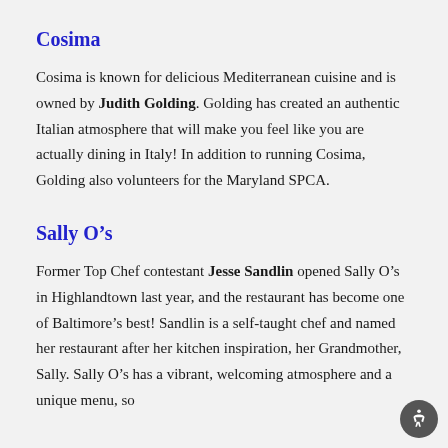Cosima
Cosima is known for delicious Mediterranean cuisine and is owned by Judith Golding. Golding has created an authentic Italian atmosphere that will make you feel like you are actually dining in Italy! In addition to running Cosima, Golding also volunteers for the Maryland SPCA.
Sally O’s
Former Top Chef contestant Jesse Sandlin opened Sally O’s in Highlandtown last year, and the restaurant has become one of Baltimore’s best! Sandlin is a self-taught chef and named her restaurant after her kitchen inspiration, her Grandmother, Sally. Sally O’s has a vibrant, welcoming atmosphere and a unique menu, so